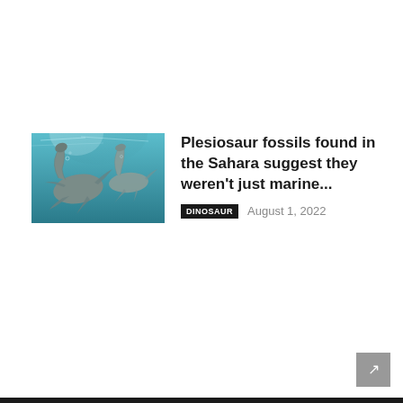[Figure (illustration): Underwater illustration of two plesiosaurs swimming, with bluish-green water and light filtering from above. The animals have long necks and flippers.]
Plesiosaur fossils found in the Sahara suggest they weren't just marine...
DINOSAUR   August 1, 2022